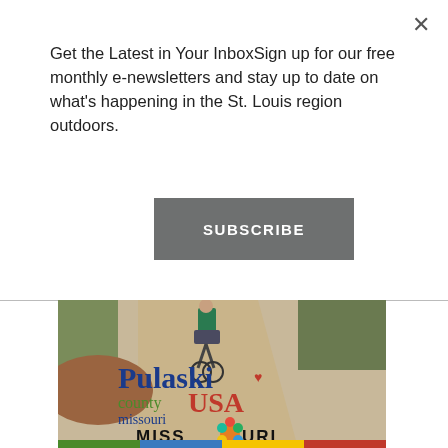×
Get the Latest in Your InboxSign up for our free monthly e-newsletters and stay up to date on what's happening in the St. Louis region outdoors.
SUBSCRIBE
[Figure (illustration): Advertisement image for Pulaski County Missouri USA with a mountain biker on a dirt trail and the Missouri logo with a colorful flower graphic. Bottom of image has colored bars in green, blue, yellow and red.]